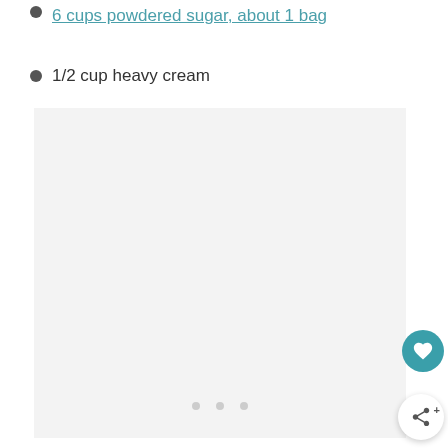6 cups powdered sugar, about 1 bag
1/2 cup heavy cream
[Figure (photo): Light gray placeholder image area with three small dots at center bottom indicating a loading or carousel state]
[Figure (other): Two floating action buttons: a teal heart/favorite button and a white share button with a share icon]